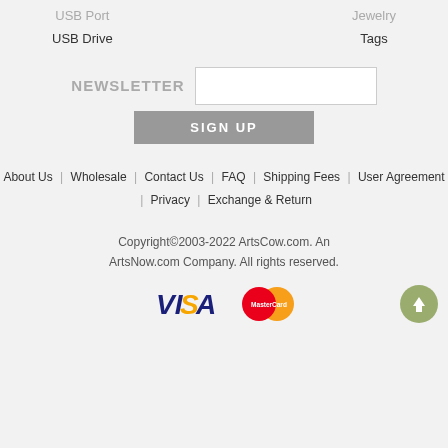USB Port
USB Drive
Jewelry
Tags
NEWSLETTER
SIGN UP
About Us  |  Wholesale  |  Contact Us  |  FAQ  |  Shipping Fees  |  User Agreement  |  Privacy  |  Exchange & Return
Copyright©2003-2022 ArtsCow.com. An ArtsNow.com Company. All rights reserved.
[Figure (logo): Visa and MasterCard payment logos]